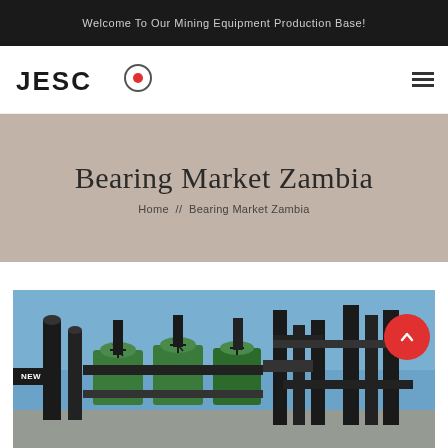Welcome To Our Mining Equipment Production Base!
[Figure (logo): JESCO logo with red dot and circle around the O, with hamburger menu icon on the right]
Bearing Market Zambia
Home // Bearing Market Zambia
[Figure (photo): Industrial mining equipment — green and black pipe assembly / pump manifold system photographed against a blue sky. Has a NEW badge overlay in the bottom-left corner.]